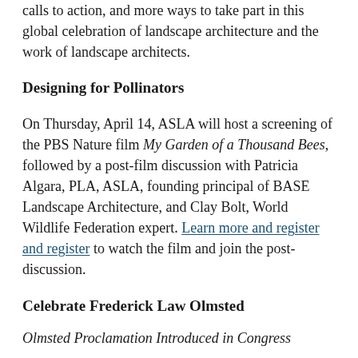calls to action, and more ways to take part in this global celebration of landscape architecture and the work of landscape architects.
Designing for Pollinators
On Thursday, April 14, ASLA will host a screening of the PBS Nature film My Garden of a Thousand Bees, followed by a post-film discussion with Patricia Algara, PLA, ASLA, founding principal of BASE Landscape Architecture, and Clay Bolt, World Wildlife Federation expert. Learn more and register and register to watch the film and join the post-discussion.
Celebrate Frederick Law Olmsted
Olmsted Proclamation Introduced in Congress
A bipartisan measure, H. Res. 1013, has been introduced to recognize and celebrate Olmsted's legacy. Contact your legislator today to urge them to